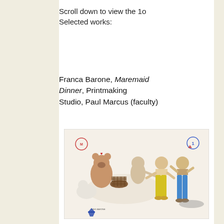Scroll down to view the 1o Selected works:
Franca Barone, Maremaid Dinner, Printmaking Studio, Paul Marcus (faculty)
[Figure (illustration): A printmaking artwork titled 'Maremaid Dinner' showing colorful figures at a dinner scene. Two figures in bright yellow and blue pants stand to the right, while a bear-like figure and other characters are seated or standing to the left with food and dishes. Small logos/stamps appear in the corners.]